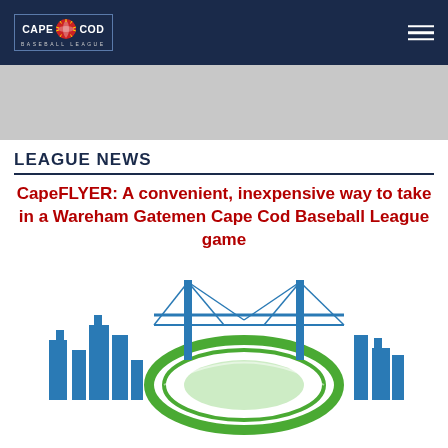[Figure (logo): Cape Cod Baseball League logo — text 'CAPE COD BASEBALL LEAGUE' with baseball graphic, on dark navy background]
[Figure (other): Gray advertisement banner area]
LEAGUE NEWS
CapeFLYER: A convenient, inexpensive way to take in a Wareham Gatemen Cape Cod Baseball League game
[Figure (illustration): Illustration of a city skyline with a baseball stadium and bridge, in blue and green colors]